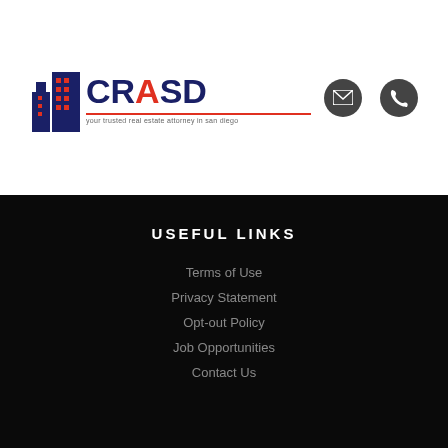[Figure (logo): CRASD logo with building icon and red/navy text, tagline below]
[Figure (other): Email and phone icons in dark circles in top right header]
USEFUL LINKS
Terms of Use
Privacy Statement
Opt-out Policy
Job Opportunities
Contact Us